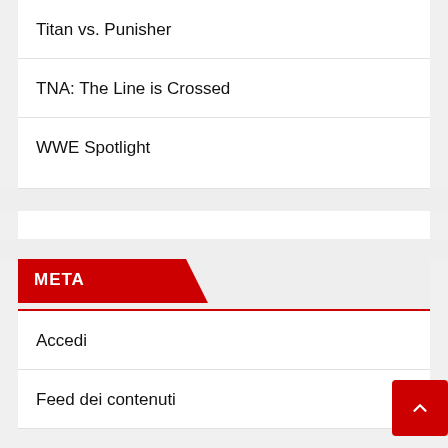Titan vs. Punisher
TNA: The Line is Crossed
WWE Spotlight
META
Accedi
Feed dei contenuti